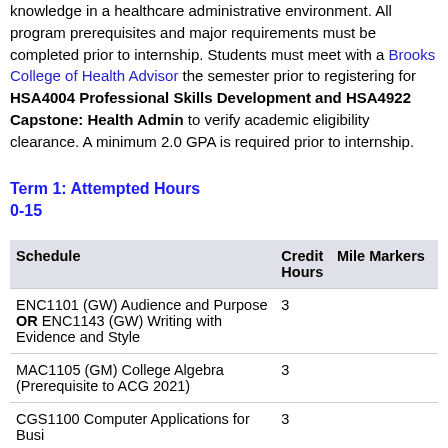knowledge in a healthcare administrative environment. All program prerequisites and major requirements must be completed prior to internship. Students must meet with a Brooks College of Health Advisor the semester prior to registering for HSA4004 Professional Skills Development and HSA4922 Capstone: Health Admin to verify academic eligibility clearance. A minimum 2.0 GPA is required prior to internship.
Term 1: Attempted Hours 0-15
| Schedule | Credit Hours | Mile Markers |
| --- | --- | --- |
| ENC1101 (GW) Audience and Purpose OR ENC1143 (GW) Writing with Evidence and Style | 3 |  |
| MAC1105 (GM) College Algebra (Prerequisite to ACG 2021) | 3 |  |
| CGS1100 Computer Applications for Busi | 3 |  |